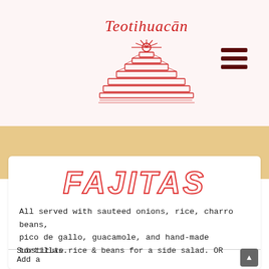[Figure (logo): Teotihuacán restaurant logo with stylized script text and pyramid illustration in red]
FAJITAS
All served with sauteed onions, rice, charro beans, pico de gallo, guacamole, and hand-made tortillas.
Substitute rice & beans for a side salad. OR Add a